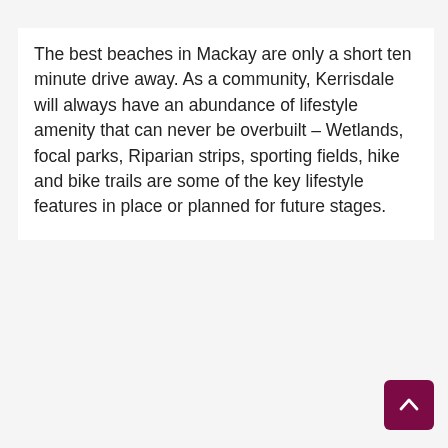The best beaches in Mackay are only a short ten minute drive away. As a community, Kerrisdale will always have an abundance of lifestyle amenity that can never be overbuilt – Wetlands, focal parks, Riparian strips, sporting fields, hike and bike trails are some of the key lifestyle features in place or planned for future stages.